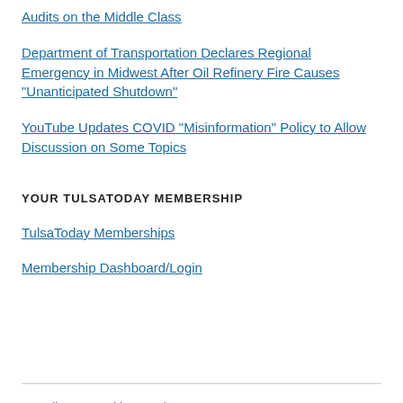Audits on the Middle Class
Department of Transportation Declares Regional Emergency in Midwest After Oil Refinery Fire Causes "Unanticipated Shutdown"
YouTube Updates COVID "Misinformation" Policy to Allow Discussion on Some Topics
YOUR TULSATODAY MEMBERSHIP
TulsaToday Memberships
Membership Dashboard/Login
Proudly powered by WordPress